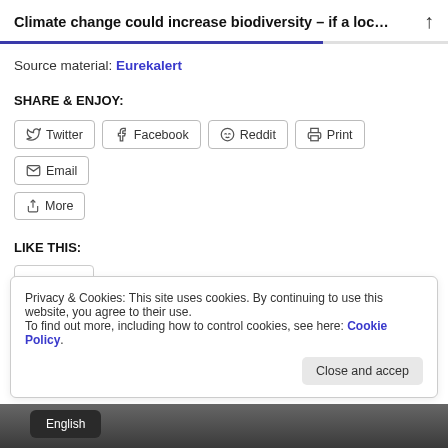Climate change could increase biodiversity – if a loc...
Source material: Eurekalert
SHARE & ENJOY:
Twitter | Facebook | Reddit | Print | Email | More
LIKE THIS:
Privacy & Cookies: This site uses cookies. By continuing to use this website, you agree to their use. To find out more, including how to control cookies, see here: Cookie Policy
Close and accep
English